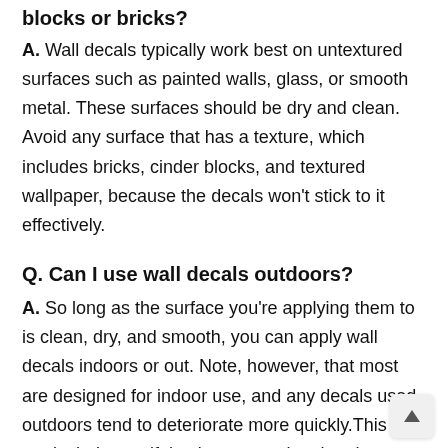blocks or bricks?
A. Wall decals typically work best on untextured surfaces such as painted walls, glass, or smooth metal. These surfaces should be dry and clean. Avoid any surface that has a texture, which includes bricks, cinder blocks, and textured wallpaper, because the decals won't stick to it effectively.
Q. Can I use wall decals outdoors?
A. So long as the surface you're applying them to is clean, dry, and smooth, you can apply wall decals indoors or out. Note, however, that most are designed for indoor use, and any decals used outdoors tend to deteriorate more quickly.This is particularly true if they're exposed to the elements. If you still want to use the decals outdoors, try to find some that are specifically made for outdoor use or made from a durable material like premium vinyl so they'll last